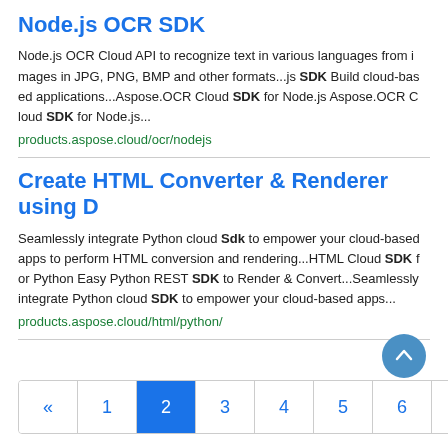Node.js OCR SDK
Node.js OCR Cloud API to recognize text in various languages from images in JPG, PNG, BMP and other formats...js SDK Build cloud-based applications...Aspose.OCR Cloud SDK for Node.js Aspose.OCR Cloud SDK for Node.js...
products.aspose.cloud/ocr/nodejs
Create HTML Converter & Renderer using D
Seamlessly integrate Python cloud Sdk to empower your cloud-based apps to perform HTML conversion and rendering...HTML Cloud SDK for Python Easy Python REST SDK to Render & Convert...Seamlessly integrate Python cloud SDK to empower your cloud-based apps...
products.aspose.cloud/html/python/